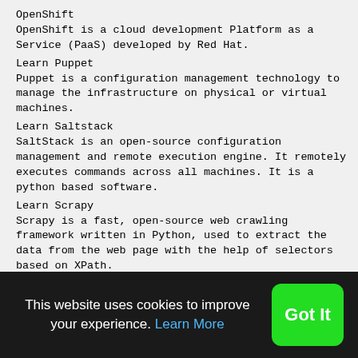OpenShift
OpenShift is a cloud development Platform as a Service (PaaS) developed by Red Hat.
Learn Puppet
Puppet is a configuration management technology to manage the infrastructure on physical or virtual machines.
Learn Saltstack
SaltStack is an open-source configuration management and remote execution engine. It remotely executes commands across all machines. It is a python based software.
Learn Scrapy
Scrapy is a fast, open-source web crawling framework written in Python, used to extract the data from the web page with the help of selectors based on XPath.
Learn SVN
Apache Subversion which is often abbreviated as SVN is a software versioning and revision...
This website uses cookies to improve your experience. Learn More Got It